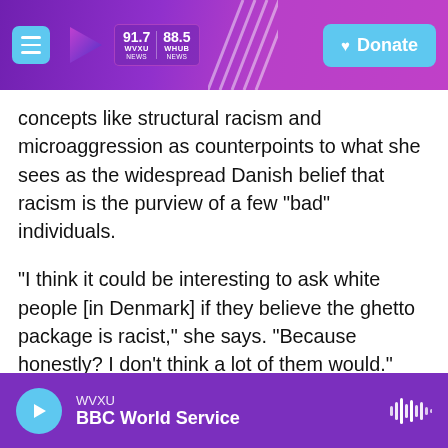WVXU 91.7 | WHUB 88.5 | Donate
concepts like structural racism and microaggression as counterpoints to what she sees as the widespread Danish belief that racism is the purview of a few "bad" individuals.
"I think it could be interesting to ask white people [in Denmark] if they believe the ghetto package is racist," she says. "Because honestly? I don't think a lot of them would."
She says the same might be true for a child who dresses up in blackface for a Carnival party (a practice that is becoming rarer, but still not
WVXU | BBC World Service